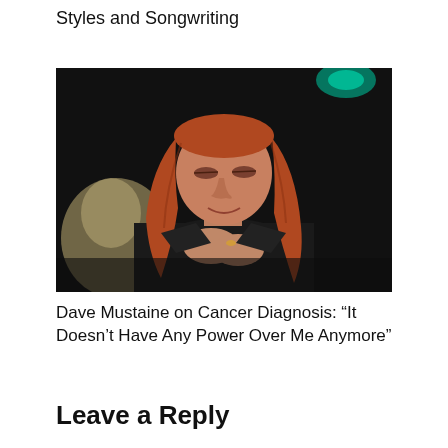Styles and Songwriting
[Figure (photo): A man with long reddish-brown hair wearing a black leather jacket, sitting in a chair with hands clasped together, photographed against a dark background.]
Dave Mustaine on Cancer Diagnosis: “It Doesn’t Have Any Power Over Me Anymore”
Leave a Reply